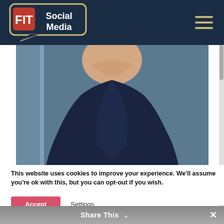FIT Social Media
[Figure (photo): Cropped photo of a person wearing a navy blue wrap-style top, visible from neck/collarbone to waist, against a blue-grey background.]
This website uses cookies to improve your experience. We'll assume you're ok with this, but you can opt-out if you wish.
Accept  Settings
Share This  ×